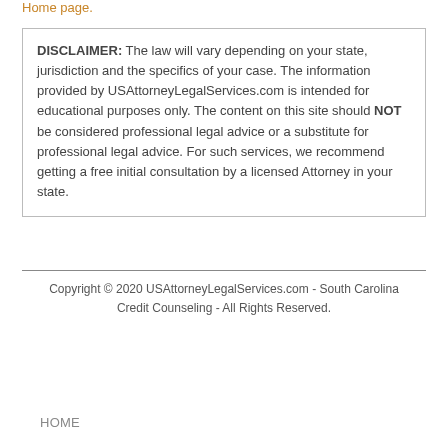Home page.
DISCLAIMER: The law will vary depending on your state, jurisdiction and the specifics of your case. The information provided by USAttorneyLegalServices.com is intended for educational purposes only. The content on this site should NOT be considered professional legal advice or a substitute for professional legal advice. For such services, we recommend getting a free initial consultation by a licensed Attorney in your state.
Copyright © 2020 USAttorneyLegalServices.com - South Carolina Credit Counseling - All Rights Reserved.
HOME